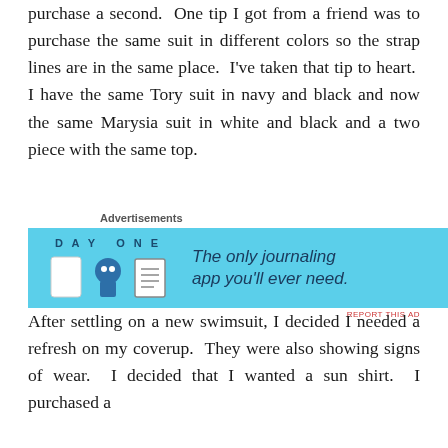purchase a second. One tip I got from a friend was to purchase the same suit in different colors so the strap lines are in the same place. I've taken that tip to heart. I have the same Tory suit in navy and black and now the same Marysia suit in white and black and a two piece with the same top.
[Figure (other): Advertisement banner for Day One journaling app with light blue background, showing icons and text 'The only journaling app you'll ever need.']
After settling on a new swimsuit, I decided I needed a refresh on my coverup. They were also showing signs of wear. I decided that I wanted a sun shirt. I purchased a